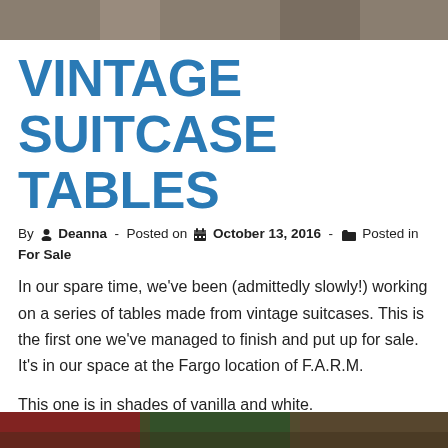[Figure (photo): Top photo strip showing a partial view of a vintage suitcase or wooden surface]
VINTAGE SUITCASE TABLES
By Deanna - Posted on October 13, 2016 - Posted in For Sale
In our spare time, we've been (admittedly slowly!) working on a series of tables made from vintage suitcases. This is the first one we've managed to finish and put up for sale. It's in our space at the Fargo location of F.A.R.M.
This one is in shades of vanilla and white.
[Figure (photo): Bottom photo strip showing colorful vintage suitcases]